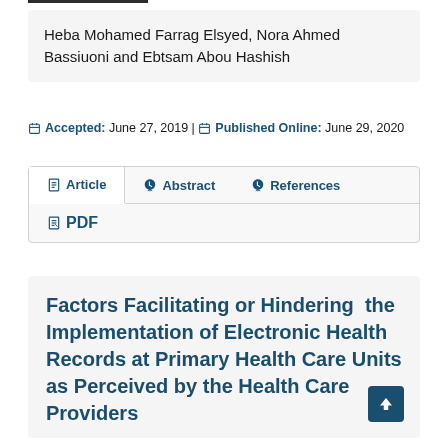Heba Mohamed Farrag Elsyed, Nora Ahmed Bassiuoni and Ebtsam Abou Hashish
Accepted: June 27, 2019 | Published Online: June 29, 2020
Article | Abstract | References | PDF
Factors Facilitating or Hindering the Implementation of Electronic Health Records at Primary Health Care Units as Perceived by the Health Care Providers